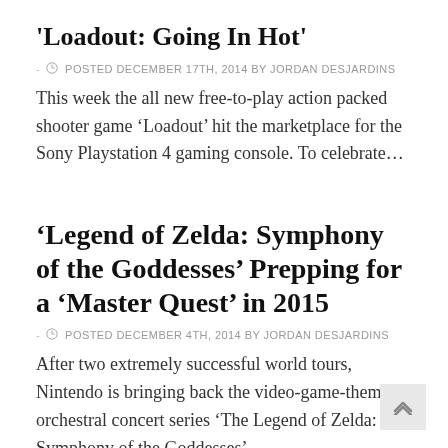'Loadout: Going In Hot'
- ○ POSTED DECEMBER 17TH, 2014 BY JORDAN DESJARDINS
This week the all new free-to-play action packed shooter game ‘Loadout’ hit the marketplace for the Sony Playstation 4 gaming console. To celebrate…
‘Legend of Zelda: Symphony of the Goddesses’ Prepping for a ‘Master Quest’ in 2015
- ○ POSTED DECEMBER 4TH, 2014 BY JORDAN DESJARDINS
After two extremely successful world tours, Nintendo is bringing back the video-game-themed orchestral concert series ‘The Legend of Zelda: Symphony of the Goddesses’…